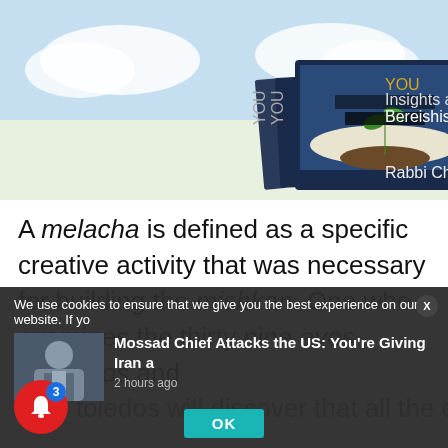[Figure (photo): Book cover showing 'YOU: Insights and Lessons for Personal Growth, Bereishis, Shemos' by Rabbi Chaim A. Morgenstern, with image of open book and sprouting plant against cloudy sky background. Multiple copies shown stacked.]
A melacha is defined as a specific creative activity that was necessary for building the mishkan. One who examines the thirty nine avos melachos and
We use cookies to ensure that we give you the best experience on our website. If yo
[Figure (photo): News thumbnail showing a man in suit, related to article about Mossad Chief]
Mossad Chief Attacks the US: You're Giving Iran a
2 hours ago